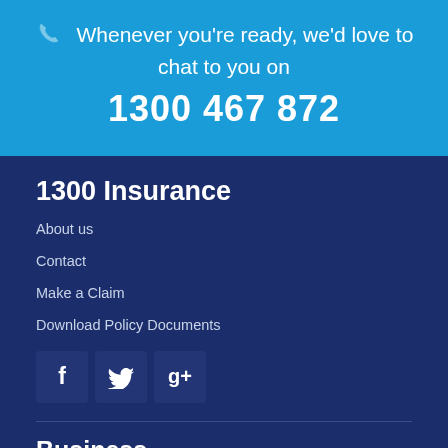Whenever you're ready, we'd love to chat to you on 1300 467 872
1300 Insurance
About us
Contact
Make a Claim
Download Policy Documents
[Figure (other): Social media icons: Facebook (f), Twitter (bird), Google+ (g+)]
Business